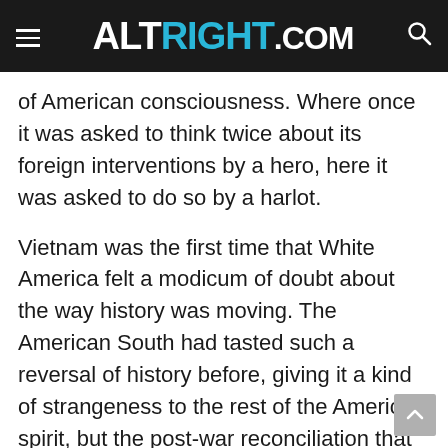ALTRIGHT.COM
of American consciousness. Where once it was asked to think twice about its foreign interventions by a hero, here it was asked to do so by a harlot.
Vietnam was the first time that White America felt a modicum of doubt about the way history was moving. The American South had tasted such a reversal of history before, giving it a kind of strangeness to the rest of the American spirit, but the post-war reconciliation that carried through the World Wars largely delivered an American South that was, to paraphrase